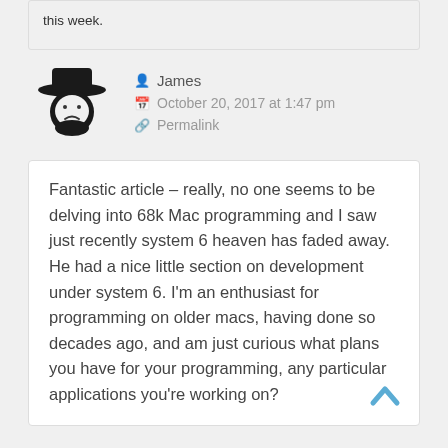this week.
James
October 20, 2017 at 1:47 pm
Permalink
Fantastic article – really, no one seems to be delving into 68k Mac programming and I saw just recently system 6 heaven has faded away. He had a nice little section on development under system 6. I'm an enthusiast for programming on older macs, having done so decades ago, and am just curious what plans you have for your programming, any particular applications you're working on?